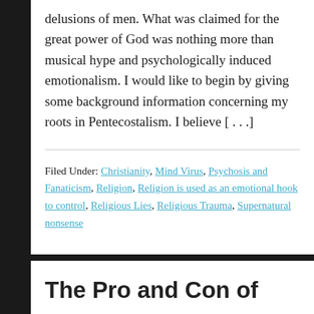delusions of men. What was claimed for the great power of God was nothing more than musical hype and psychologically induced emotionalism. I would like to begin by giving some background information concerning my roots in Pentecostalism. I believe [...]
Filed Under: Christianity, Mind Virus, Psychosis and Fanaticism, Religion, Religion is used as an emotional hook to control, Religious Lies, Religious Trauma, Supernatural nonsense
The Pro and Con of